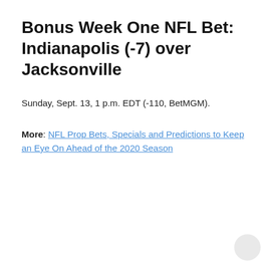Bonus Week One NFL Bet: Indianapolis (-7) over Jacksonville
Sunday, Sept. 13, 1 p.m. EDT (-110, BetMGM).
More: NFL Prop Bets, Specials and Predictions to Keep an Eye On Ahead of the 2020 Season